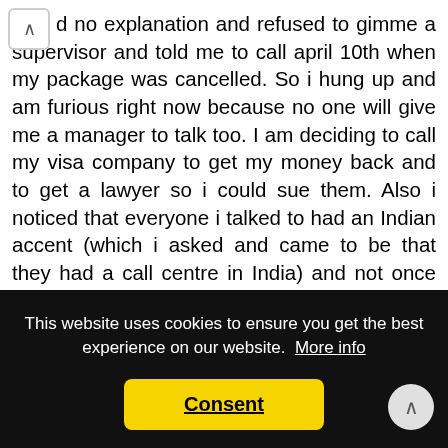d no explanation and refused to gimme a supervisor and told me to call april 10th when my package was cancelled. So i hung up and am furious right now because no one will give me a manager to talk too. I am deciding to call my visa company to get my money back and to get a lawyer so i could sue them. Also i noticed that everyone i talked to had an Indian accent (which i asked and came to be that they had a call centre in India) and not once was i able to talk to anyone that represents primus from canada because they refused and said i had to go through that call centre.
This website uses cookies to ensure you get the best experience on our website. More info
Consent